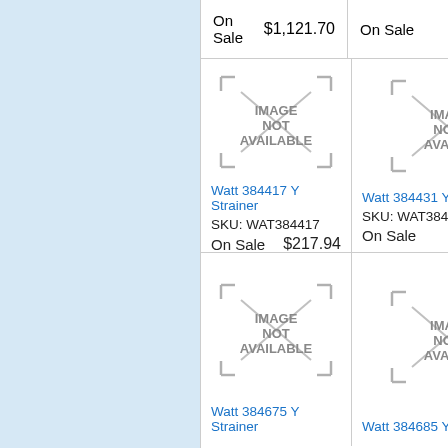On Sale  $1,121.70
On Sale
[Figure (other): IMAGE NOT AVAILABLE placeholder for Watt 384417 Y Strainer]
Watt 384417 Y Strainer
SKU: WAT384417
On Sale  $217.94
[Figure (other): IMAGE NOT AVAILABLE placeholder for Watt 384431 Y Strainer]
Watt 384431 Y
SKU: WAT384-
On Sale
[Figure (other): IMAGE NOT AVAILABLE placeholder for Watt 384675 Y Strainer]
Watt 384675 Y Strainer
[Figure (other): IMAGE NOT AVAILABLE placeholder for Watt 384685 Y Strainer]
Watt 384685 Y